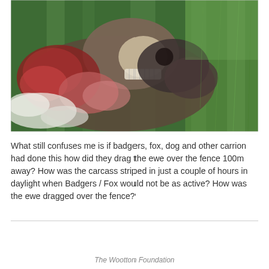[Figure (photo): A decomposed animal carcass (ewe/sheep) lying on green grass, showing exposed skull, teeth, flesh, and fur/wool remnants.]
What still confuses me is if badgers, fox, dog and other carrion had done this how did they drag the ewe over the fence 100m away? How was the carcass striped in just a couple of hours in daylight when Badgers / Fox would not be as active? How was the ewe dragged over the fence?
The Wootton Foundation